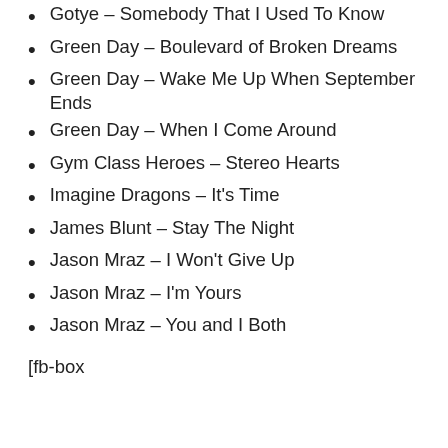Gotye – Somebody That I Used To Know
Green Day – Boulevard of Broken Dreams
Green Day – Wake Me Up When September Ends
Green Day – When I Come Around
Gym Class Heroes – Stereo Hearts
Imagine Dragons – It's Time
James Blunt – Stay The Night
Jason Mraz – I Won't Give Up
Jason Mraz – I'm Yours
Jason Mraz – You and I Both
[fb-box